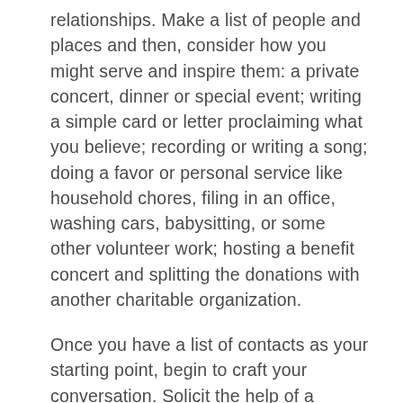relationships. Make a list of people and places and then, consider how you might serve and inspire them: a private concert, dinner or special event; writing a simple card or letter proclaiming what you believe; recording or writing a song; doing a favor or personal service like household chores, filing in an office, washing cars, babysitting, or some other volunteer work; hosting a benefit concert and splitting the donations with another charitable organization.
Once you have a list of contacts as your starting point, begin to craft your conversation. Solicit the help of a trusted mentor to help you craft a script that is professional and confident, while at the